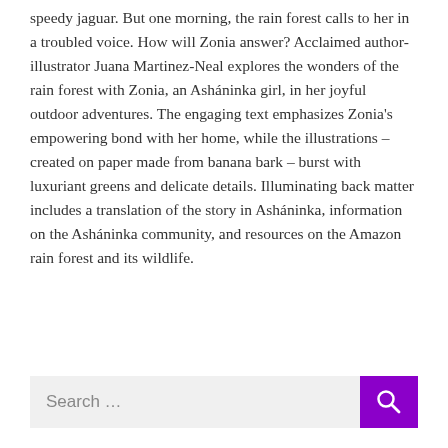speedy jaguar. But one morning, the rain forest calls to her in a troubled voice. How will Zonia answer? Acclaimed author-illustrator Juana Martinez-Neal explores the wonders of the rain forest with Zonia, an Asháninka girl, in her joyful outdoor adventures. The engaging text emphasizes Zonia's empowering bond with her home, while the illustrations – created on paper made from banana bark – burst with luxuriant greens and delicate details. Illuminating back matter includes a translation of the story in Asháninka, information on the Asháninka community, and resources on the Amazon rain forest and its wildlife.
[Figure (other): Search bar with text input field showing placeholder text 'Search ...' and a purple button with a white magnifying glass icon]